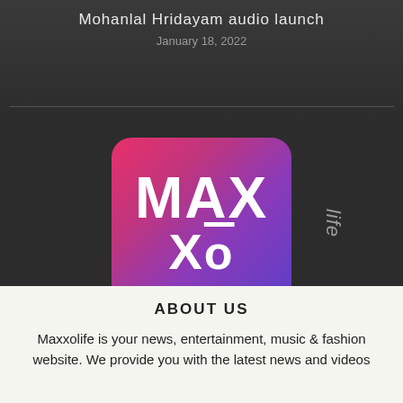Mohanlal Hridayam audio launch
January 18, 2022
[Figure (logo): MAXXo life logo — rounded square with pink-to-purple gradient background, white bold text reading MAX on top and Xo (with o-bar macron) below, with 'life' text in italic to the right]
ABOUT US
Maxxolife is your news, entertainment, music & fashion website. We provide you with the latest news and videos